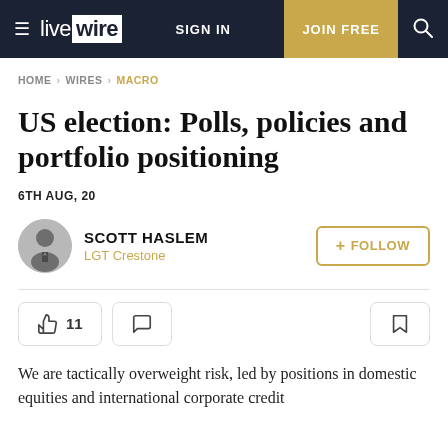live wire | SIGN IN | JOIN FREE
HOME > WIRES > MACRO
US election: Polls, policies and portfolio positioning
6TH AUG, 20
SCOTT HASLEM
LGT Crestone
We are tactically overweight risk, led by positions in domestic equities and international corporate credit